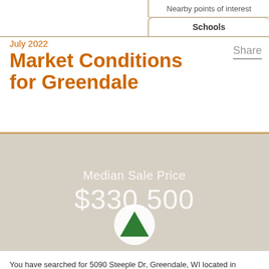Nearby points of interest | Schools
July 2022
Market Conditions for Greendale
Share
[Figure (infographic): Map background panel showing Median Sale Price $330,500 with an upward green triangle arrow indicator]
You have searched for 5090 Steeple Dr, Greendale, WI located in